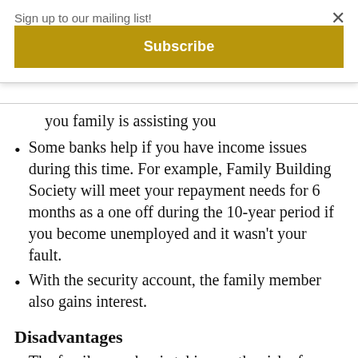Sign up to our mailing list!
Subscribe
you family is assisting you
Some banks help if you have income issues during this time. For example, Family Building Society will meet your repayment needs for 6 months as a one off during the 10-year period if you become unemployed and it wasn't your fault.
With the security account, the family member also gains interest.
Disadvantages
The family member is taking on the risk of